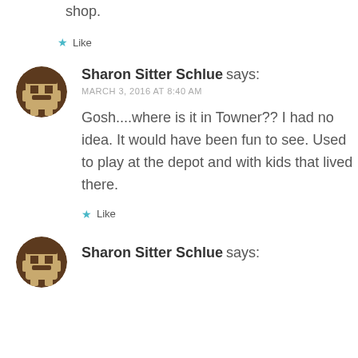shop.
★ Like
Sharon Sitter Schlue says:
MARCH 3, 2016 AT 8:40 AM
Gosh....where is it in Towner?? I had no idea. It would have been fun to see. Used to play at the depot and with kids that lived there.
★ Like
Sharon Sitter Schlue says: